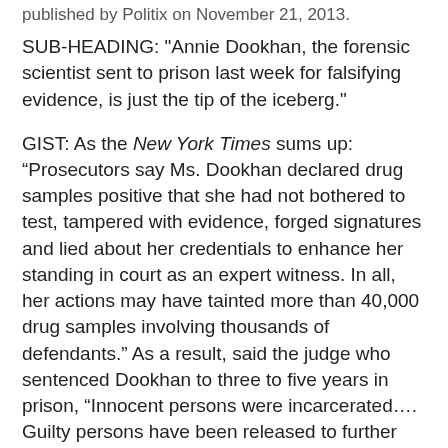published by Politix on November 21, 2013.
SUB-HEADING: "Annie Dookhan, the forensic scientist sent to prison last week for falsifying evidence, is just the tip of the iceberg."
GIST: As the New York Times sums up: “Prosecutors say Ms. Dookhan declared drug samples positive that she had not bothered to test, tampered with evidence, forged signatures and lied about her credentials to enhance her standing in court as an expert witness. In all, her actions may have tainted more than 40,000 drug samples involving thousands of defendants.” As a result, said the judge who sentenced Dookhan to three to five years in prison, “Innocent persons were incarcerated…. Guilty persons have been released to further endanger the public, millions and millions of public dollars are being expended to deal with the chaos Ms. Dookhan created, and the integrity of the criminal justice system has been shaken to the core.” More than 300 people convicted partly thanks to Dookhan’s work have since been released. Thing is, this kind of thing happens all the time. At least 11 prisoners have been released in Texas in recent months because a state crime lab worker was caught